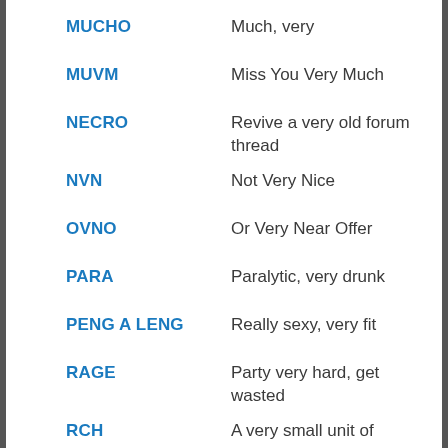MUCHO — Much, very
MUVM — Miss You Very Much
NECRO — Revive a very old forum thread
NVN — Not Very Nice
OVNO — Or Very Near Offer
PARA — Paralytic, very drunk
PENG A LENG — Really sexy, very fit
RAGE — Party very hard, get wasted
RCH — A very small unit of measurement
SEHR — Very
STOKED — Very happy, excited